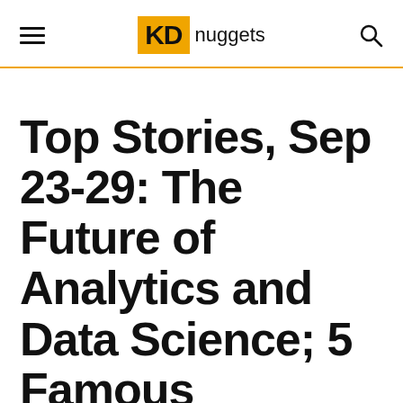KDnuggets
Top Stories, Sep 23-29: The Future of Analytics and Data Science; 5 Famous